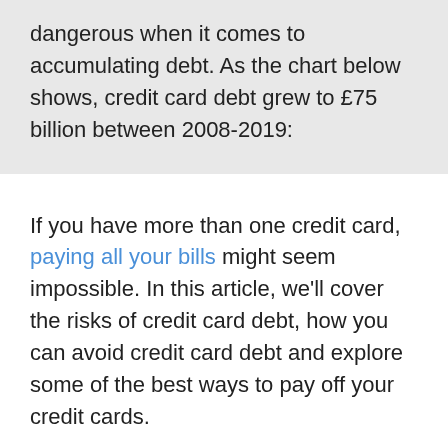dangerous when it comes to accumulating debt. As the chart below shows, credit card debt grew to £75 billion between 2008-2019:
If you have more than one credit card, paying all your bills might seem impossible. In this article, we'll cover the risks of credit card debt, how you can avoid credit card debt and explore some of the best ways to pay off your credit cards.
Recent studies have shown that credit card debt accounts for around £22bn of total household debt in the UK. Although this is a worrying figure, it does mean you're not alone, with almost five million people each owing over £10,000 in loans and credit.